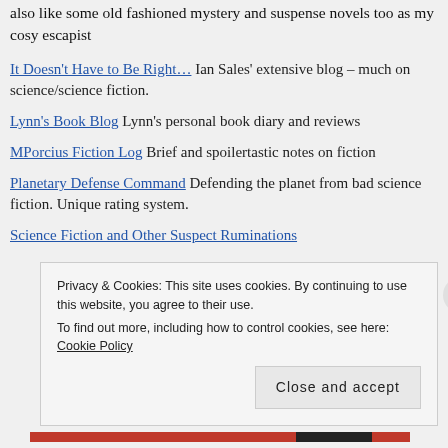also like some old fashioned mystery and suspense novels too as my cosy escapist
It Doesn't Have to Be Right… Ian Sales' extensive blog – much on science/science fiction.
Lynn's Book Blog Lynn's personal book diary and reviews
MPorcius Fiction Log Brief and spoilertastic notes on fiction
Planetary Defense Command Defending the planet from bad science fiction. Unique rating system.
Science Fiction and Other Suspect Ruminations
Privacy & Cookies: This site uses cookies. By continuing to use this website, you agree to their use. To find out more, including how to control cookies, see here: Cookie Policy
Close and accept